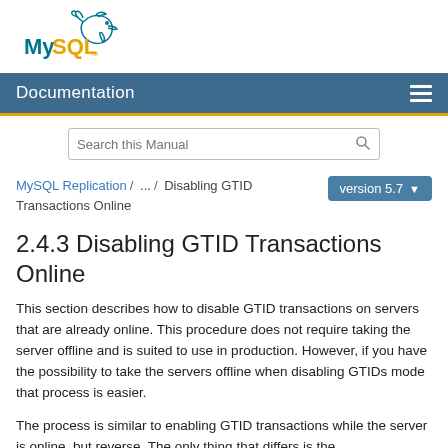[Figure (logo): MySQL dolphin logo with blue 'MySQL' text and orange dot]
Documentation
MySQL Replication / ... / Disabling GTID Transactions Online
2.4.3 Disabling GTID Transactions Online
This section describes how to disable GTID transactions on servers that are already online. This procedure does not require taking the server offline and is suited to use in production. However, if you have the possibility to take the servers offline when disabling GTIDs mode that process is easier.
The process is similar to enabling GTID transactions while the server is online, but reverse. The only thing that differs is the